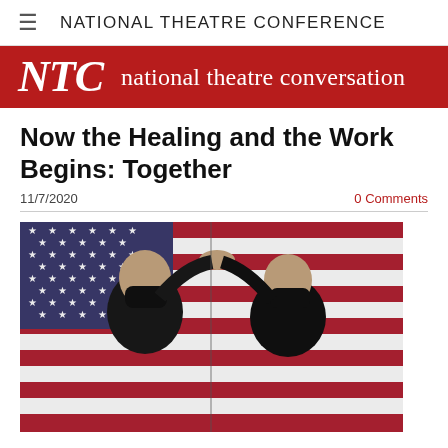NATIONAL THEATRE CONFERENCE
NTC national theatre conversation
Now the Healing and the Work Begins: Together
11/7/2020
0 Comments
[Figure (photo): Two people wearing black masks standing in front of an American flag, raising their joined hands. The person on the left is wearing a dark suit and the person on the right is wearing a dark outfit.]